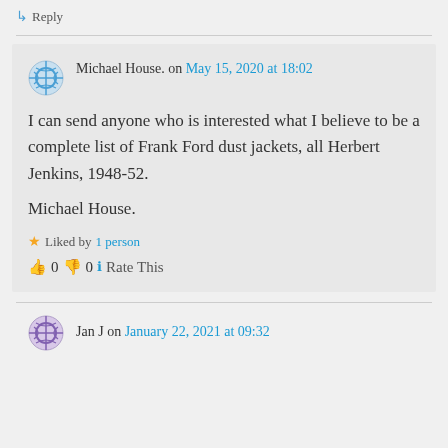↳ Reply
Michael House. on May 15, 2020 at 18:02
I can send anyone who is interested what I believe to be a complete list of Frank Ford dust jackets, all Herbert Jenkins, 1948-52.

Michael House.
★ Liked by 1 person
👍 0 👎 0 ℹ Rate This
Jan J on January 22, 2021 at 09:32